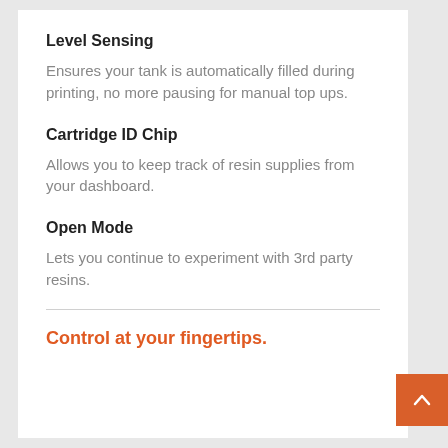Level Sensing
Ensures your tank is automatically filled during printing, no more pausing for manual top ups.
Cartridge ID Chip
Allows you to keep track of resin supplies from your dashboard.
Open Mode
Lets you continue to experiment with 3rd party resins.
Control at your fingertips.